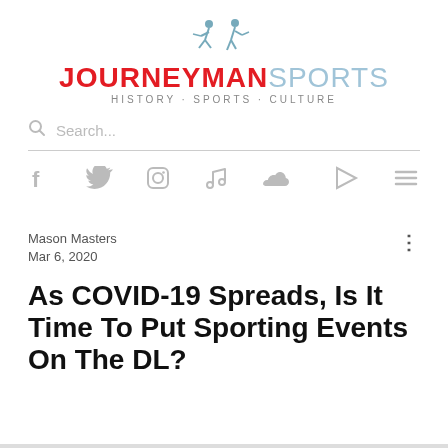[Figure (logo): Journeyman Sports logo with two silhouetted sports figures and tagline HISTORY · SPORTS · CULTURE]
Search...
[Figure (infographic): Row of social media icons: Facebook, Twitter, Instagram, Music/Apple, SoundCloud, Google Play, Menu]
Mason Masters
Mar 6, 2020
As COVID-19 Spreads, Is It Time To Put Sporting Events On The DL?